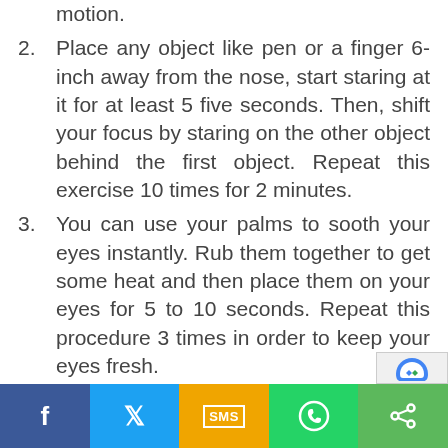motion.
2. Place any object like pen or a finger 6-inch away from the nose, start staring at it for at least 5 five seconds. Then, shift your focus by staring on the other object behind the first object. Repeat this exercise 10 times for 2 minutes.
3. You can use your palms to sooth your eyes instantly. Rub them together to get some heat and then place them on your eyes for 5 to 10 seconds. Repeat this procedure 3 times in order to keep your eyes fresh.